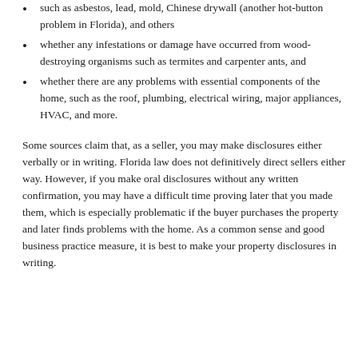such as asbestos, lead, mold, Chinese drywall (another hot-button problem in Florida), and others
whether any infestations or damage have occurred from wood-destroying organisms such as termites and carpenter ants, and
whether there are any problems with essential components of the home, such as the roof, plumbing, electrical wiring, major appliances, HVAC, and more.
Some sources claim that, as a seller, you may make disclosures either verbally or in writing. Florida law does not definitively direct sellers either way. However, if you make oral disclosures without any written confirmation, you may have a difficult time proving later that you made them, which is especially problematic if the buyer purchases the property and later finds problems with the home. As a common sense and good business practice measure, it is best to make your property disclosures in writing.